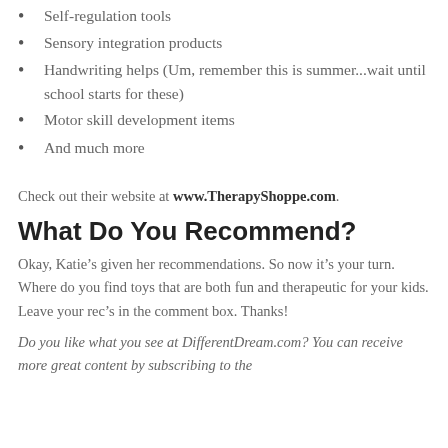Self-regulation tools
Sensory integration products
Handwriting helps (Um, remember this is summer...wait until school starts for these)
Motor skill development items
And much more
Check out their website at www.TherapyShoppe.com.
What Do You Recommend?
Okay, Katie’s given her recommendations. So now it’s your turn. Where do you find toys that are both fun and therapeutic for your kids. Leave your rec’s in the comment box. Thanks!
Do you like what you see at DifferentDream.com? You can receive more great content by subscribing to the